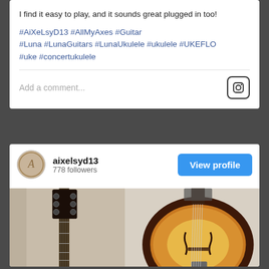I find it easy to play, and it sounds great plugged in too!
#AiXeLsyD13 #AllMyAxes #Guitar
#Luna #LunaGuitars #LunaUkulele #ukulele #UKEFLO
#uke #concertukulele
Add a comment...
aixelsyd13
778 followers
View profile
[Figure (photo): Two-panel photo: left shows a black guitar neck/headstock with tuning pegs against a beige wall; right shows a mandolin (sunburst finish) close-up showing the body, f-holes, bridge and strings.]